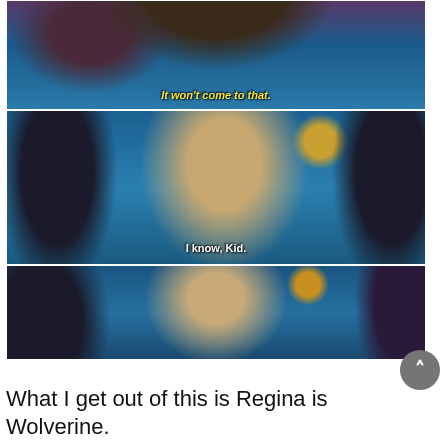[Figure (screenshot): Three stacked TV show screenshots: top panel shows a character with subtitle 'It won't come to that.' in yellow italic text; middle panel shows a blonde woman facing left with subtitle 'I know, Kid.' in white text; bottom panel shows the same blonde woman being held/grabbed with no subtitle visible.]
What I get out of this is Regina is Wolverine.